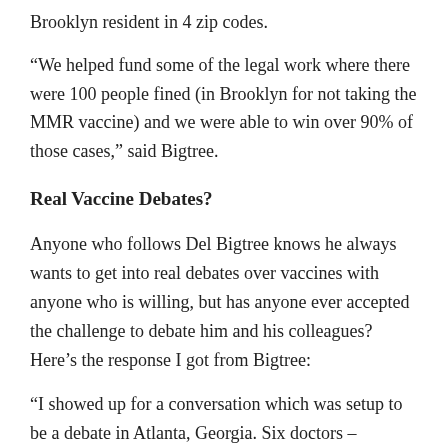Brooklyn resident in 4 zip codes.
“We helped fund some of the legal work where there were 100 people fined (in Brooklyn for not taking the MMR vaccine) and we were able to win over 90% of those cases,” said Bigtree.
Real Vaccine Debates?
Anyone who follows Del Bigtree knows he always wants to get into real debates over vaccines with anyone who is willing, but has anyone ever accepted the challenge to debate him and his colleagues? Here’s the response I got from Bigtree:
“I showed up for a conversation which was setup to be a debate in Atlanta, Georgia. Six doctors – including